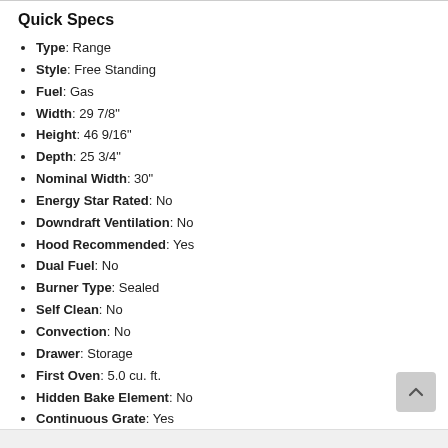Quick Specs
Type: Range
Style: Free Standing
Fuel: Gas
Width: 29 7/8"
Height: 46 9/16"
Depth: 25 3/4"
Nominal Width: 30"
Energy Star Rated: No
Downdraft Ventilation: No
Hood Recommended: Yes
Dual Fuel: No
Burner Type: Sealed
Self Clean: No
Convection: No
Drawer: Storage
First Oven: 5.0 cu. ft.
Hidden Bake Element: No
Continuous Grate: Yes
Sabbath Mode: No
WiFi Connected: No
See More